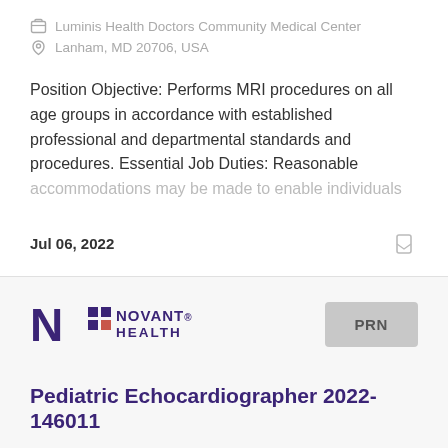Luminis Health Doctors Community Medical Center
Lanham, MD 20706, USA
Position Objective: Performs MRI procedures on all age groups in accordance with established professional and departmental standards and procedures. Essential Job Duties: Reasonable accommodations may be made to enable individuals
Jul 06, 2022
[Figure (logo): Novant Health logo with stylized N and colored squares]
PRN
Pediatric Echocardiographer 2022-146011